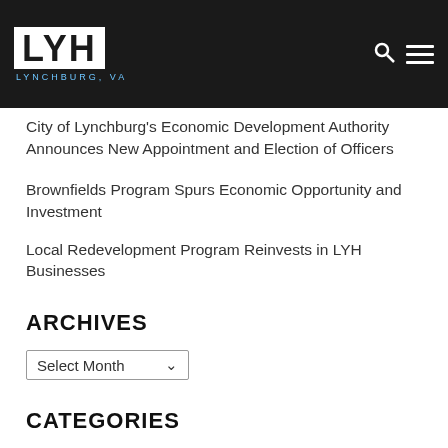LYH LYNCHBURG, VA
City of Lynchburg's Economic Development Authority Announces New Appointment and Election of Officers
Brownfields Program Spurs Economic Opportunity and Investment
Local Redevelopment Program Reinvests in LYH Businesses
ARCHIVES
Select Month
CATEGORIES
Insights & Resources
Launched in Lynchburg
Uncategorized
Lynchburg History